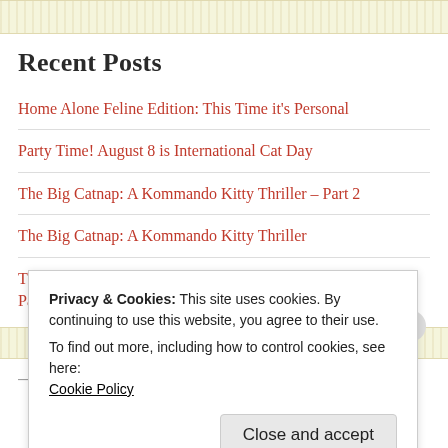[Figure (other): Decorative banner strip with light yellow/tan repeating texture pattern]
Recent Posts
Home Alone Feline Edition: This Time it's Personal
Party Time! August 8 is International Cat Day
The Big Catnap: A Kommando Kitty Thriller – Part 2
The Big Catnap: A Kommando Kitty Thriller
There Goes the Neighborhood: The Groundhogs' Bad Season: Part 2
[Figure (other): Decorative banner strip with light yellow/tan repeating texture pattern]
Privacy & Cookies: This site uses cookies. By continuing to use this website, you agree to their use.
To find out more, including how to control cookies, see here:
Cookie Policy
Close and accept